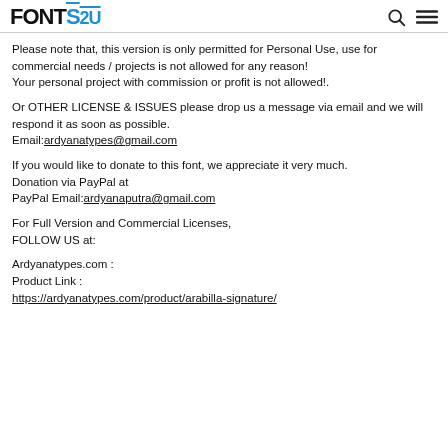FONTS2U
Please note that, this version is only permitted for Personal Use, use for commercial needs / projects is not allowed for any reason!
Your personal project with commission or profit is not allowed!.
Or OTHER LICENSE & ISSUES please drop us a message via email and we will respond it as soon as possible.
Email:ardyanatypes@gmail.com
If you would like to donate to this font, we appreciate it very much.
Donation via PayPal at
PayPal Email:ardyanaputra@gmail.com
For Full Version and Commercial Licenses,
FOLLOW US at:
Ardyanatypes.com :
Product Link :
https://ardyanatypes.com/product/arabilla-signature/